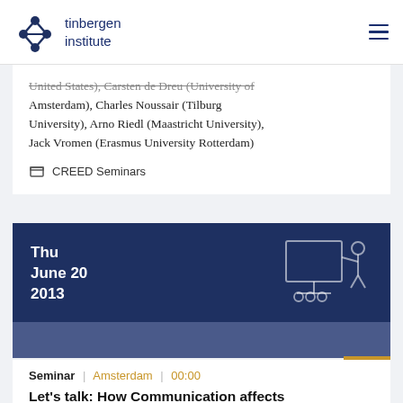tinbergen institute
United States), Carsten de Dreu (University of Amsterdam), Charles Noussair (Tilburg University), Arno Riedl (Maastricht University), Jack Vromen (Erasmus University Rotterdam)
CREED Seminars
[Figure (other): Dark blue event banner with date Thu June 20 2013 and a presentation/seminar icon on the right showing a person at a whiteboard]
Seminar | Amsterdam | 00:00
Let's talk: How Communication affects